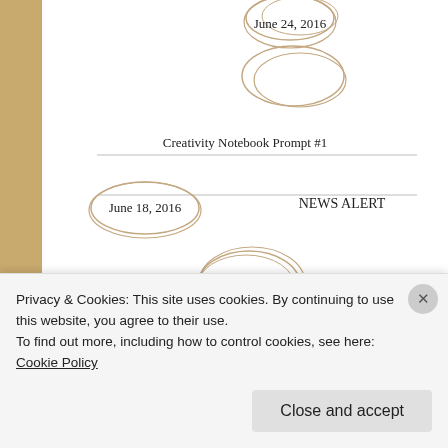[Figure (illustration): Circled date labels over blog post entries. Top area shows 'June 24, 2016' circled, and two overlapping circles above it.]
Creativity Notebook Prompt #1
June 18, 2016
NEWS ALERT
March 27, 2016
Archives
Select Month
Privacy & Cookies: This site uses cookies. By continuing to use this website, you agree to their use.
To find out more, including how to control cookies, see here: Cookie Policy
Close and accept